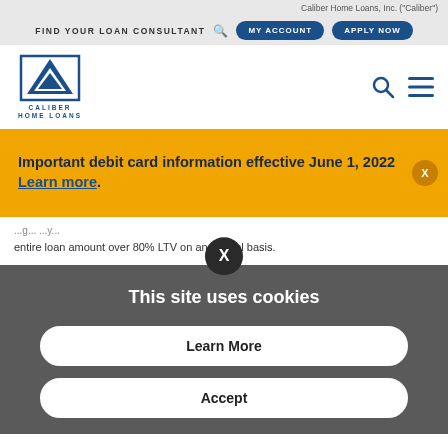Caliber Home Loans, Inc. ("Caliber")
FIND YOUR LOAN CONSULTANT  MY ACCOUNT  APPLY NOW
[Figure (logo): Caliber Home Loans logo with blue arrow triangle icon and text CALIBER HOME LOANS]
Important debit card information effective June 1, 2022 Learn more.
entire loan amount over 80% LTV on an annual basis.
This site uses cookies
Learn More
Accept